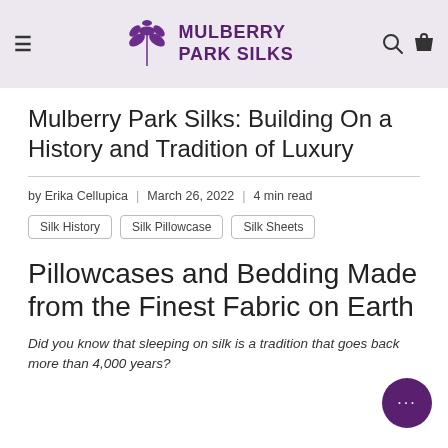Mulberry Park Silks [logo]
Mulberry Park Silks: Building On a History and Tradition of Luxury
by Erika Cellupica | March 26, 2022 | 4 min read
Silk History
Silk Pillowcase
Silk Sheets
Pillowcases and Bedding Made from the Finest Fabric on Earth
Did you know that sleeping on silk is a tradition that goes back more than 4,000 years?